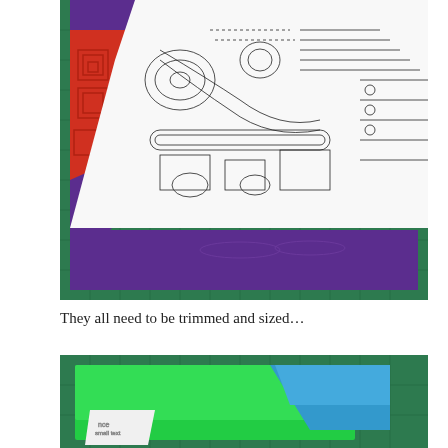[Figure (photo): A quilt block in progress on a green cutting mat. The block features a large white and black printed fabric with a mechanical/technical illustration motif, surrounded by colorful fabric pieces including purple swirl print, red geometric print, and a small yellow piece at the top.]
They all need to be trimmed and sized…
[Figure (photo): A quilt block on a green cutting mat showing bright green fabric pieces with a blue/teal diagonal accent piece and a small white printed fabric piece in the lower left corner.]